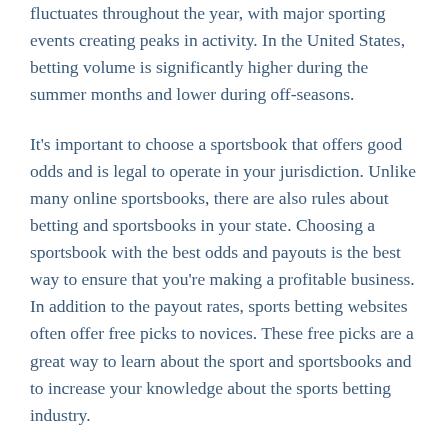fluctuates throughout the year, with major sporting events creating peaks in activity. In the United States, betting volume is significantly higher during the summer months and lower during off-seasons.
It’s important to choose a sportsbook that offers good odds and is legal to operate in your jurisdiction. Unlike many online sportsbooks, there are also rules about betting and sportsbooks in your state. Choosing a sportsbook with the best odds and payouts is the best way to ensure that you’re making a profitable business. In addition to the payout rates, sports betting websites often offer free picks to novices. These free picks are a great way to learn about the sport and sportsbooks and to increase your knowledge about the sports betting industry.
Leave a Comment
Pragmatic Play Slots – Playing